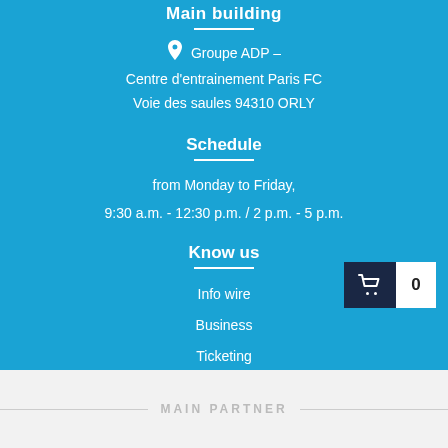Main building
Groupe ADP – Centre d'entrainement Paris FC Voie des saules 94310 ORLY
Schedule
from Monday to Friday,
9:30 a.m. - 12:30 p.m. / 2 p.m. - 5 p.m.
Know us
Info wire
Business
Ticketing
MAIN PARTNER